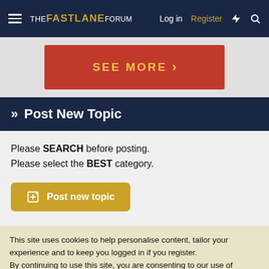THE FASTLANE FORUM — Log in  Register
[Figure (other): Partially visible red advertisement banner with 'SEE MORE' text and arrow button]
» Post New Topic
Please SEARCH before posting.
Please select the BEST category.
Post new topic
This site uses cookies to help personalise content, tailor your experience and to keep you logged in if you register.
By continuing to use this site, you are consenting to our use of cookies.
✓ Accept   Learn more...